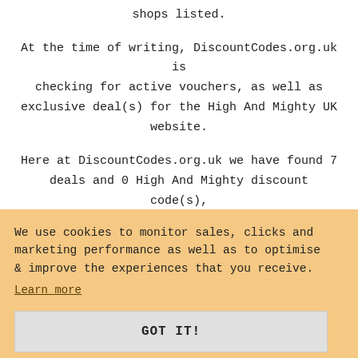shops listed.
At the time of writing, DiscountCodes.org.uk is checking for active vouchers, as well as exclusive deal(s) for the High And Mighty UK website.
Here at DiscountCodes.org.uk we have found 7 deals and 0 High And Mighty discount code(s),
e.
We use cookies to monitor sales, clicks and marketing performance as well as to optimise & improve the experiences that you receive.
Learn more
GOT IT!
Average Discount   £1.00